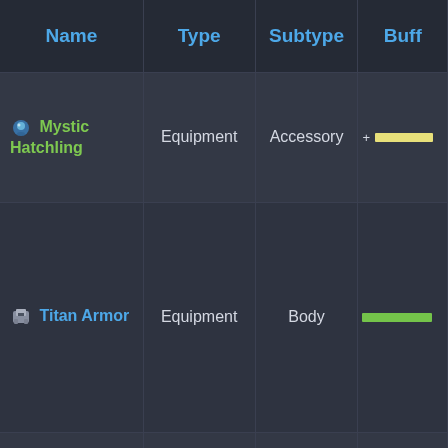| Name | Type | Subtype | Buff |
| --- | --- | --- | --- |
| Mystic Hatchling | Equipment | Accessory | +[bar] |
| Titan Armor | Equipment | Body | [green bar] |
| 2020 Class B Helmet | Equipment | Head | [orange bar] |
| Xmas... |  |  |  |